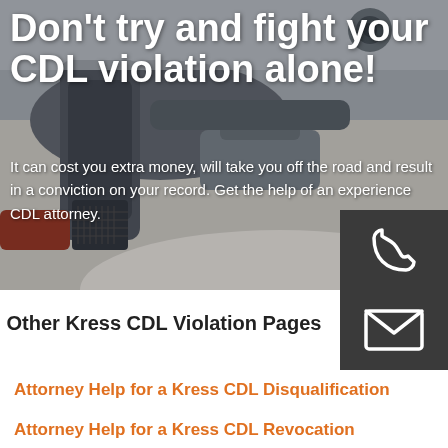Don't try and fight your CDL violation alone!
It can cost you extra money, will take you off the road and result in a conviction on your record. Get the help of an experience CDL attorney.
[Figure (photo): Close-up photo of a large truck/CDL vehicle exhaust and mechanical parts, used as hero background image]
[Figure (infographic): Dark gray square icon with a white telephone handset symbol]
[Figure (infographic): Dark gray square icon with a white envelope/email symbol]
Other Kress CDL Violation Pages
Attorney Help for a Kress CDL Disqualification
Attorney Help for a Kress CDL Revocation